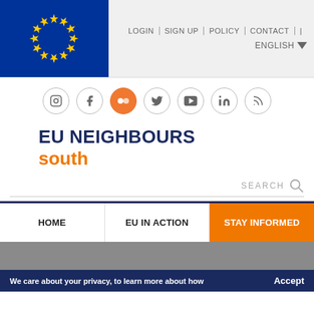[Figure (logo): EU flag (blue background with yellow stars circle) on left of header, navigation links LOGIN | SIGN UP | POLICY | CONTACT | ENGLISH on right]
[Figure (infographic): Row of 7 social media icons: Instagram, Facebook, Flickr, Twitter, YouTube, LinkedIn, RSS feed]
EU NEIGHBOURS south
SEARCH
HOME
EU IN ACTION
STAY INFORMED
We care about your privacy, to learn more about how
Accept